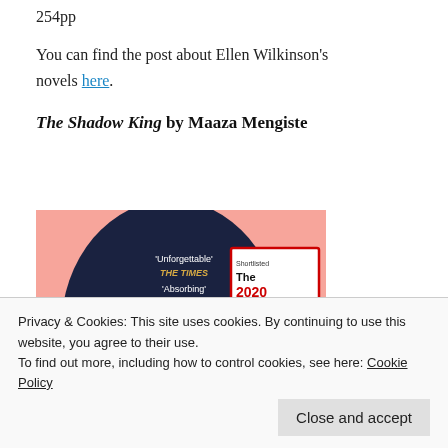254pp
You can find the post about Ellen Wilkinson's novels here.
The Shadow King by Maaza Mengiste
[Figure (photo): Book cover of 'The Shadow King' by Maaza Mengiste, showing a stylized dark navy silhouette head with colorful abstract background. Quotes read 'Unforgettable' THE TIMES and 'Absorbing' GUARDIAN. A badge reads 'Shortlisted The 2020 Booker Prize'.]
Privacy & Cookies: This site uses cookies. By continuing to use this website, you agree to their use.
To find out more, including how to control cookies, see here: Cookie Policy